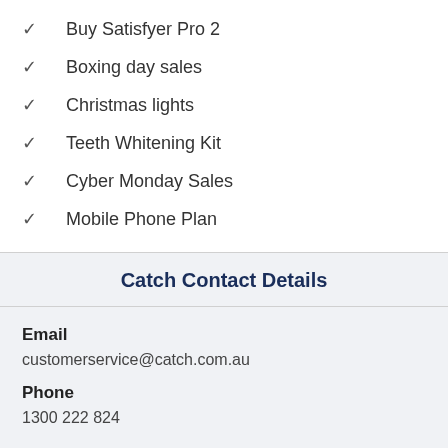Buy Satisfyer Pro 2
Boxing day sales
Christmas lights
Teeth Whitening Kit
Cyber Monday Sales
Mobile Phone Plan
Catch Contact Details
Email
customerservice@catch.com.au
Phone
1300 222 824